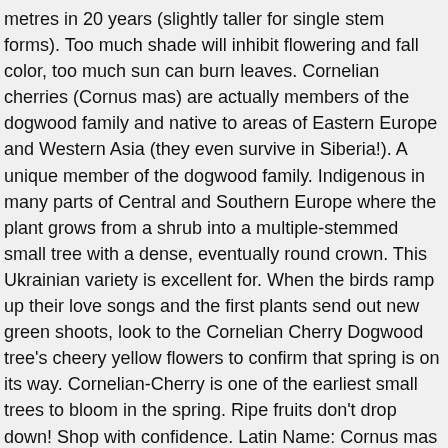metres in 20 years (slightly taller for single stem forms). Too much shade will inhibit flowering and fall color, too much sun can burn leaves. Cornelian cherries (Cornus mas) are actually members of the dogwood family and native to areas of Eastern Europe and Western Asia (they even survive in Siberia!). A unique member of the dogwood family. Indigenous in many parts of Central and Southern Europe where the plant grows from a shrub into a multiple-stemmed small tree with a dense, eventually round crown. This Ukrainian variety is excellent for. When the birds ramp up their love songs and the first plants send out new green shoots, look to the Cornelian Cherry Dogwood tree's cheery yellow flowers to confirm that spring is on its way. Cornelian-Cherry is one of the earliest small trees to bloom in the spring. Ripe fruits don't drop down! Shop with confidence. Latin Name: Cornus mas Site and Soil: Cornelian Cherry likes 1/2 day to full sun and well-drained soil. Cornelian Cherry Dogwood is a multi-stemmed deciduous tree with a shapely oval form. Sunrise Cornelian Cherry trees produces large, pear-shaped